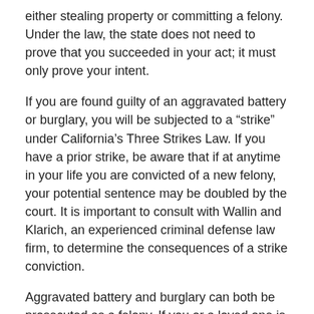either stealing property or committing a felony. Under the law, the state does not need to prove that you succeeded in your act; it must only prove your intent.
If you are found guilty of an aggravated battery or burglary, you will be subjected to a “strike” under California’s Three Strikes Law. If you have a prior strike, be aware that if at anytime in your life you are convicted of a new felony, your potential sentence may be doubled by the court. It is important to consult with Wallin and Klarich, an experienced criminal defense law firm, to determine the consequences of a strike conviction.
Aggravated battery and burglary can both be prosecuted as a felony. If you or a loved one is accused of either of these felonies it is essential to retain an experienced California defense attorney at Wallin and Klarich so we can aggressively defend you from these serious charges. Our attorneys at Wallin & Klarich have over 30 years of experience taking on